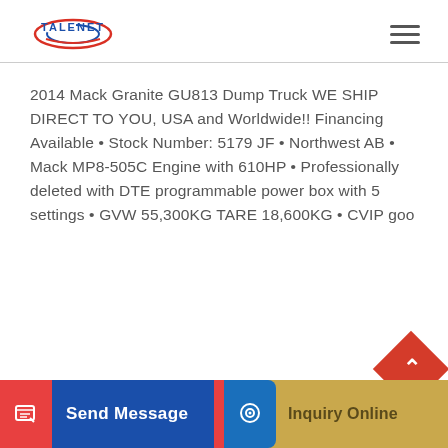[Figure (logo): Talenet logo with blue and red circular design and 'TALENET' text]
2014 Mack Granite GU813 Dump Truck WE SHIP DIRECT TO YOU, USA and Worldwide!! Financing Available • Stock Number: 5179 JF • Northwest AB • Mack MP8-505C Engine with 610HP • Professionally deleted with DTE programmable power box with 5 settings • GVW 55,300KG TARE 18,600KG • CVIP goo